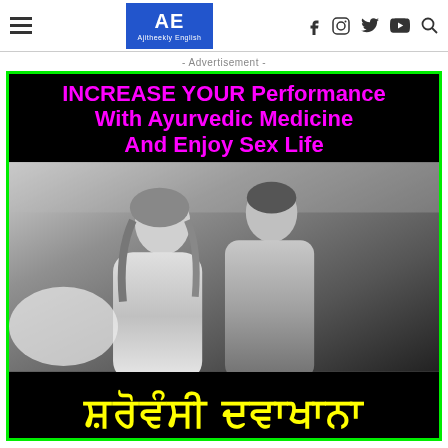AE Ajitheekly English — navigation header with hamburger menu, logo, and social icons
- Advertisement -
[Figure (photo): Advertisement banner with green border on black background. Top section has magenta/pink bold text: INCREASE YOUR Performance With Ayurvedic Medicine And Enjoy Sex Life. Middle section shows a grayscale photo of a couple (woman and man) in an intimate setting. Bottom section has yellow Punjabi script text on black background.]